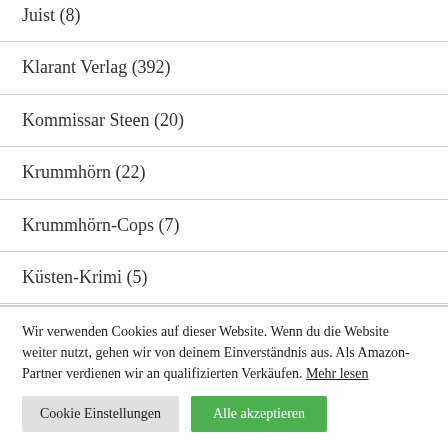Juist (8)
Klarant Verlag (392)
Kommissar Steen (20)
Krummhörn (22)
Krummhörn-Cops (7)
Küsten-Krimi (5)
Wir verwenden Cookies auf dieser Website. Wenn du die Website weiter nutzt, gehen wir von deinem Einverständnis aus. Als Amazon-Partner verdienen wir an qualifizierten Verkäufen. Mehr lesen
Cookie Einstellungen | Alle akzeptieren